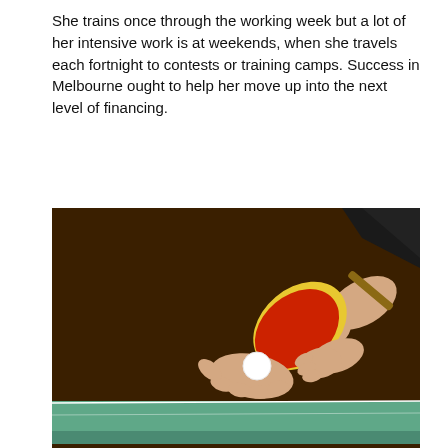She trains once through the working week but a lot of her intensive work is at weekends, when she travels each fortnight to contests or training camps. Success in Melbourne ought to help her move up into the next level of financing.
[Figure (photo): Close-up photo of a person's hands holding a red table tennis paddle (bat) with a yellow edge over a white ping pong ball resting on an open palm, positioned over a green table tennis table. The background is dark brown. Part of the player's black sleeve is visible at the top right.]